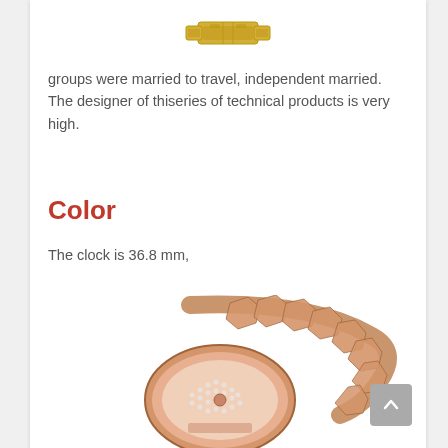[Figure (photo): Close-up of a gold watch clasp/bracelet link at the top of the page]
groups were married to travel, independent married. The designer of thiseries of technical products is very high.
Color
The clock is 36.8 mm,
[Figure (photo): Rose gold luxury women's watch with diamond-paved dial and geometric bracelet, shown from an angle]